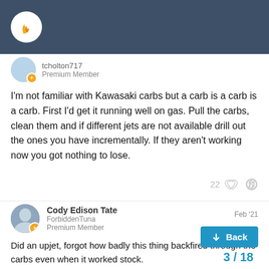Forum header bar with logo
tcholton717
Premium Member
I'm not familiar with Kawasaki carbs but a carb is a carb is a carb. First I'd get it running well on gas. Pull the carbs, clean them and if different jets are not available drill out the ones you have incrementally. If they aren't working now you got nothing to lose.
2
Cody Edison Tate
ForbiddenTuna
Premium Member
Feb '21
Did an upjet, forgot how badly this thing backfired through the carbs even when it worked stock.
Yeah I think I'll save a motorcycle gasifier for an
Maybe I'll gasify a small 4 stroke bicycle I have laying around
Back
3 / 18